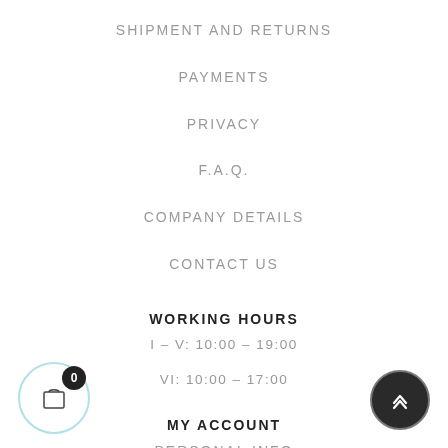SHIPMENT AND RETURNS
PAYMENTS
PRIVACY
F.A.Q.
COMPANY DETAILS
CONTACT US
WORKING HOURS
I – V: 10:00 – 19:00
VI: 10:00 – 17:00
MY ACCOUNT
PERSONAL INFO